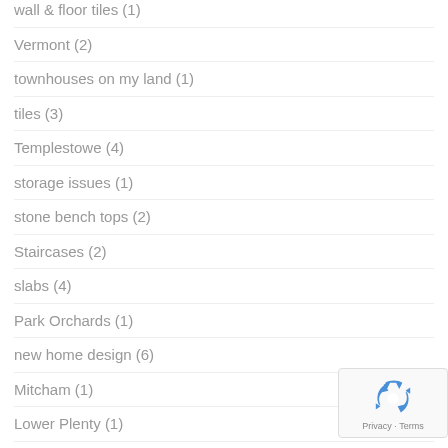wall & floor tiles (1)
Vermont (2)
townhouses on my land (1)
tiles (3)
Templestowe (4)
storage issues (1)
stone bench tops (2)
Staircases (2)
slabs (4)
Park Orchards (1)
new home design (6)
Mitcham (1)
Lower Plenty (1)
landscape and site (30)